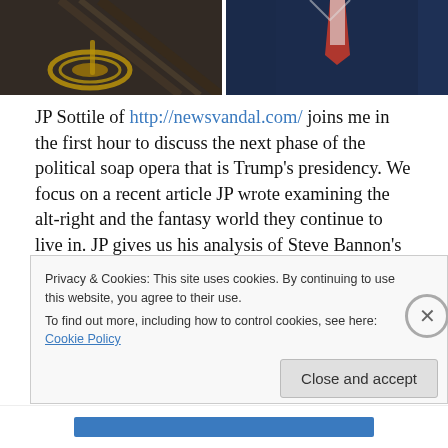[Figure (photo): Two photos side by side: left shows a dark image of a musical instrument (appears to be a trumpet/brass), right shows a man in a blue suit with a red tie]
JP Sottile of http://newsvandal.com/ joins me in the first hour to discuss the next phase of the political soap opera that is Trump's presidency. We focus on a recent article JP wrote examining the alt-right and the fantasy world they continue to live in. JP gives us his analysis of Steve Bannon's exit from the White House and back to Breitbart. We talk about how Bannon is still very much in control of Trump's talking points and the trajectory of his policies and
Privacy & Cookies: This site uses cookies. By continuing to use this website, you agree to their use.
To find out more, including how to control cookies, see here: Cookie Policy
Close and accept